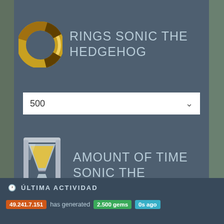RINGS SONIC THE HEDGEHOG
500
AMOUNT OF TIME SONIC THE HEDGEHOG
500
ÚLTIMA ACTIVIDAD
49.241.7.151 has generated 2.500 gems 0s ago